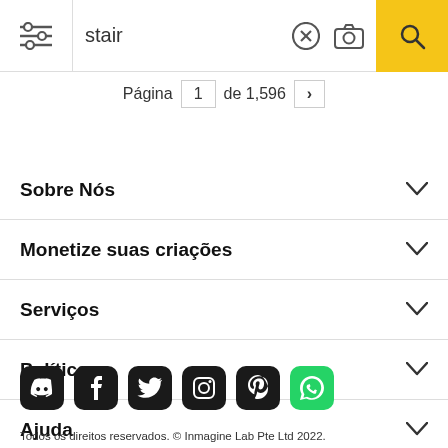stair — Página 1 de 1,596
Sobre Nós
Monetize suas criações
Serviços
Políticas
Ajuda
[Figure (infographic): Social media icons: Discord, Facebook, Twitter, Instagram, Pinterest, WhatsApp]
Todos os direitos reservados. © Inmagine Lab Pte Ltd 2022.